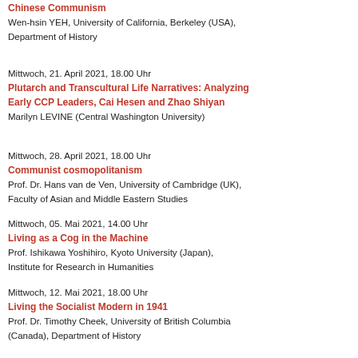Chinese Communism
Wen-hsin YEH, University of California, Berkeley (USA), Department of History
Mittwoch, 21. April 2021, 18.00 Uhr
Plutarch and Transcultural Life Narratives: Analyzing Early CCP Leaders, Cai Hesen and Zhao Shiyan
Marilyn LEVINE (Central Washington University)
Mittwoch, 28. April 2021, 18.00 Uhr
Communist cosmopolitanism
Prof. Dr. Hans van de Ven, University of Cambridge (UK), Faculty of Asian and Middle Eastern Studies
Mittwoch, 05. Mai 2021, 14.00 Uhr
Living as a Cog in the Machine
Prof. Ishikawa Yoshihiro, Kyoto University (Japan), Institute for Research in Humanities
Mittwoch, 12. Mai 2021, 18.00 Uhr
Living the Socialist Modern in 1941
Prof. Dr. Timothy Cheek, University of British Columbia (Canada), Department of History
Mittwoch, 12. Mai 2021, 18.30 Uhr
Creative Life in Yan'an
Prof. Dr. Ban Wang, Stanford University (USA), Division of Literatures, Cultures and Languages
Mittwoch, 26. Mai 2021, 16.00 Uhr
1951 - A “Truth Regime” in the Making
Prof. Dr. David Wang, Harvard University (USA), Department of East Asian Languages and Civilizations